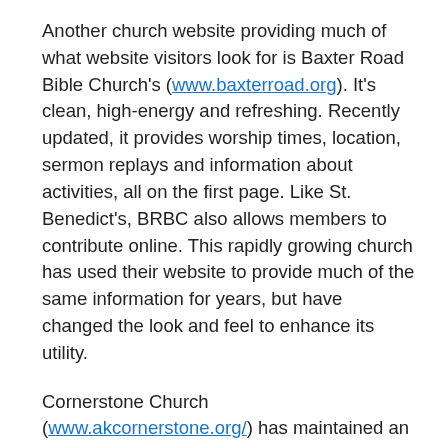Another church website providing much of what website visitors look for is Baxter Road Bible Church's (www.baxterroad.org). It's clean, high-energy and refreshing. Recently updated, it provides worship times, location, sermon replays and information about activities, all on the first page. Like St. Benedict's, BRBC also allows members to contribute online. This rapidly growing church has used their website to provide much of the same information for years, but have changed the look and feel to enhance its utility.
Cornerstone Church (www.akcornerstone.org/) has maintained an excellent, current website for years. They are also one of the few churches that allow visitors to watch recent sermons. If a website doesn't offer watching, a church might still provide a way to listen to a recent sermon. A growing number of Alaska churches now offer apps for the iPhone or Android platforms. Cornerstone's app offers the